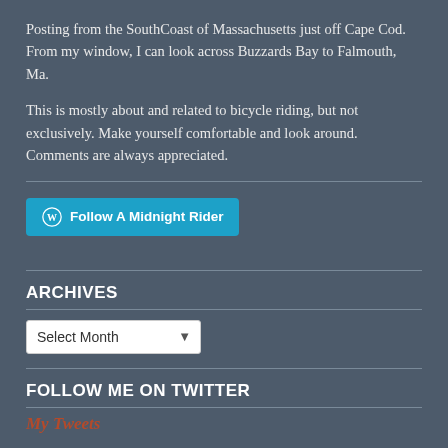Posting from the SouthCoast of Massachusetts just off Cape Cod. From my window, I can look across Buzzards Bay to Falmouth, Ma.

This is mostly about and related to bicycle riding, but not exclusively. Make yourself comfortable and look around. Comments are always appreciated.
[Figure (other): Follow A Midnight Rider button with WordPress logo]
ARCHIVES
Select Month (dropdown)
FOLLOW ME ON TWITTER
My Tweets